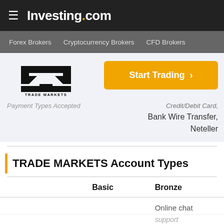Investing.com
Forex Brokers  Cryptocurrency Brokers  CFD Brokers
[Figure (logo): Trade Markets logo — stylized M with block base, text TRADE MARKETS below]
Start Trading ›
Payment Types Accepted	Credit/Debit Card, Bank Wire Transfer, Neteller
TRADE MARKETS Account Types
|  | Basic | Bronze |
| --- | --- | --- |
|  |  | Online chat |
|  |  | support |